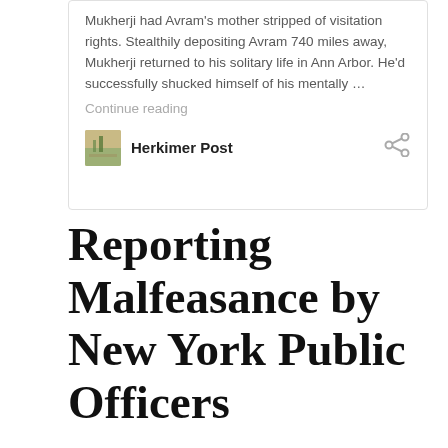Mukherji had Avram's mother stripped of visitation rights. Stealthily depositing Avram 740 miles away, Mukherji returned to his solitary life in Ann Arbor. He'd successfully shucked himself of his mentally …
Continue reading
Herkimer Post
Reporting Malfeasance by New York Public Officers
New York Attorney General, Bureau of Public